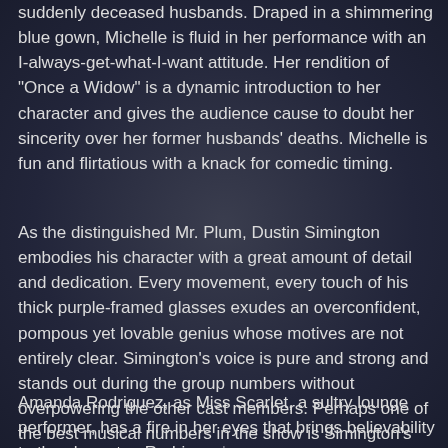suddenly deceased husbands. Draped in a shimmering blue gown, Michelle is fluid in her performance with an I-always-get-what-I-want attitude. Her rendition of "Once a Widow" is a dynamic introduction to her character and gives the audience cause to doubt her sincerity over her former husbands' deaths. Michelle is fun and flirtatious with a knack for comedic timing.
As the distinguished Mr. Plum, Dustin Simington embodies his character with a great amount of detail and dedication. Every movement, every touch of his thick purple-framed glasses exudes an overconfident, pompous yet lovable genius whose motives are not entirely clear. Simington's voice is pure and strong and stands out during the group numbers without overpowering the other cast members. Perhaps one of the best musical numbers in the show is Simington's duet with the Detective in "Seduction Deduction". It begins with a battle of quotes and leads into an over-passionate Paso Doble of sorts, producing some big laughs.
Amanda Rodriguez, as Miss Scarlet, a sultry lounge performer, has a fire in her eyes that brings believability to the character. Rodriguez's